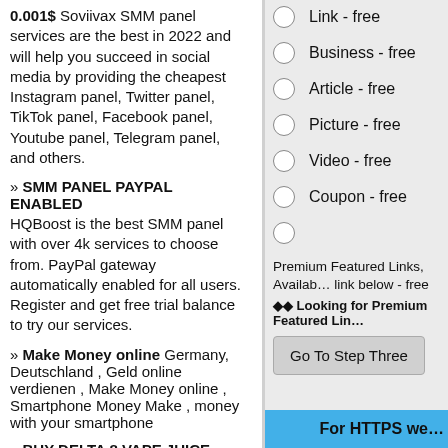0.001$ Soviivax SMM panel services are the best in 2022 and will help you succeed in social media by providing the cheapest Instagram panel, Twitter panel, TikTok panel, Facebook panel, Youtube panel, Telegram panel, and others.
» SMM PANEL PAYPAL ENABLED
HQBoost is the best SMM panel with over 4k services to choose from. PayPal gateway automatically enabled for all users. Register and get free trial balance to try our services.
» Make Money online
Germany, Deutschland , Geld online verdienen , Make Money online , Smartphone Money Make , money with your smartphone
» BUY DELTA 8 VAPE JUICE
Link -  free
Business -  free
Article -  free
Picture -  free
Video -  free
Coupon -  free
(empty radio)
Premium Featured Links, Available link below -  free
◆◆ Looking for Premium Featured Lin…
Go To Step Three
For HTTPS we…